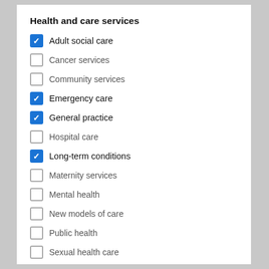Health and care services
Adult social care
Cancer services
Community services
Emergency care
General practice
Hospital care
Long-term conditions
Maternity services
Mental health
New models of care
Public health
Sexual health care
Leadership, systems and organisations
Clinical commissioning groups